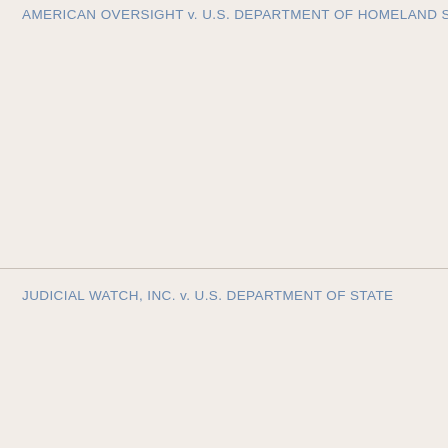AMERICAN OVERSIGHT v. U.S. DEPARTMENT OF HOMELAND SECURITY et a
JUDICIAL WATCH, INC. v. U.S. DEPARTMENT OF STATE
AMERICAN OVERSIGHT v. U.S. DEPARTMENT OF STATE
JUDICIAL WATCH, INC. v. U.S. DEPARTMENT OF JUSTICE et al